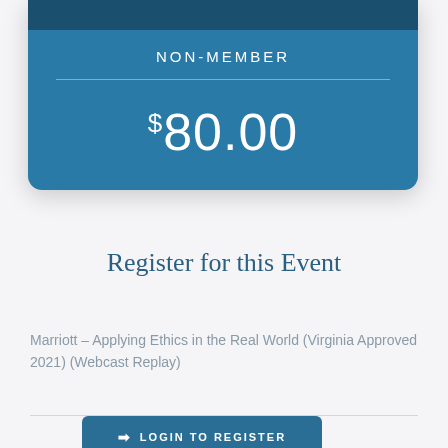NON-MEMBER
$80.00
Register for this Event
Marriott – Applying Ethics in the Real World (Virginia Approved 2021) (Webcast Replay)
LOGIN TO REGISTER